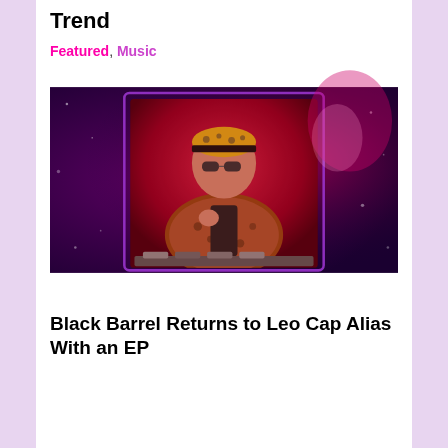Trend
Featured, Music
[Figure (photo): A DJ wearing a leopard print jacket, bandana headwear, and sunglasses performing at decks. The background is a deep magenta/purple with bokeh lights and a purple photo frame effect around the central image.]
Black Barrel Returns to Leo Cap Alias With an EP